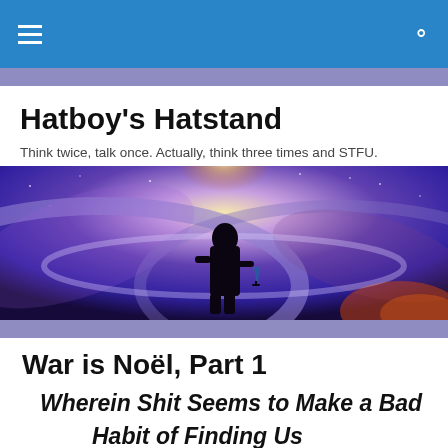Navigation bar with hamburger menu and search icon
Hatboy's Hatstand
Think twice, talk once. Actually, think three times and STFU.
[Figure (illustration): Hero banner image showing a silhouette of a person holding a drink, standing in front of a cosmic/space background with purple and blue nebula colors and a bright light source above]
War is Noël, Part 1
Wherein Shit Seems to Make a Bad Habit of Finding Us